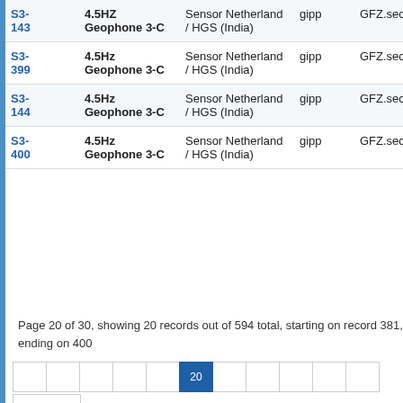| ID | Name | Type | Proto | Network | Status |
| --- | --- | --- | --- | --- | --- |
| S3-143 | 4.5HZ Geophone 3-C | Sensor Netherland / HGS (India) | gipp | GFZ.sec22 | OK |
| S3-399 | 4.5Hz Geophone 3-C | Sensor Netherland / HGS (India) | gipp | GFZ.sec22 | OK |
| S3-144 | 4.5Hz Geophone 3-C | Sensor Netherland / HGS (India) | gipp | GFZ.sec22 | OK |
| S3-400 | 4.5Hz Geophone 3-C | Sensor Netherland / HGS (India) | gipp | GFZ.sec22 | OK |
Page 20 of 30, showing 20 records out of 594 total, starting on record 381, ending on 400
[Figure (other): Pagination control with numbered page buttons (1 through 10+), page 20 highlighted in blue, and a page-size selector dropdown below]